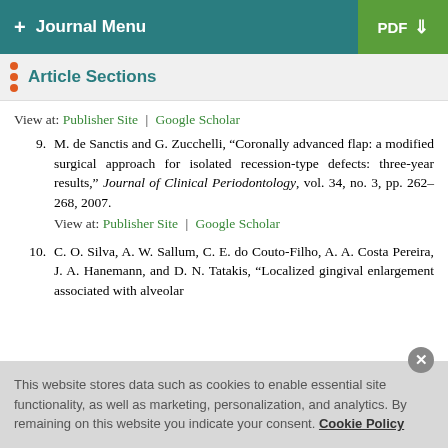+ Journal Menu | PDF
Article Sections
View at: Publisher Site | Google Scholar
9. M. de Sanctis and G. Zucchelli, “Coronally advanced flap: a modified surgical approach for isolated recession-type defects: three-year results,” Journal of Clinical Periodontology, vol. 34, no. 3, pp. 262–268, 2007.
View at: Publisher Site | Google Scholar
10. C. O. Silva, A. W. Sallum, C. E. do Couto-Filho, A. A. Costa Pereira, J. A. Hanemann, and D. N. Tatakis, “Localized gingival enlargement associated with alveolar
This website stores data such as cookies to enable essential site functionality, as well as marketing, personalization, and analytics. By remaining on this website you indicate your consent. Cookie Policy